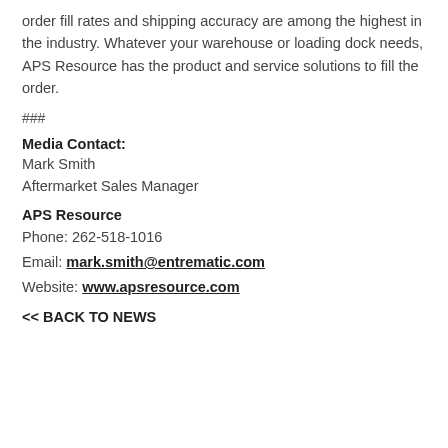order fill rates and shipping accuracy are among the highest in the industry. Whatever your warehouse or loading dock needs, APS Resource has the product and service solutions to fill the order.
###
Media Contact:
Mark Smith
Aftermarket Sales Manager
APS Resource
Phone: 262-518-1016
Email: mark.smith@entrematic.com
Website: www.apsresource.com
<< BACK TO NEWS